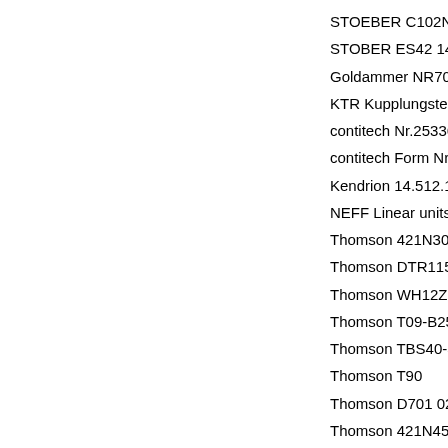STOEBER C102N0420
STOBER ES42 1465388/00
Goldammer NR70-MA-SR4-
KTR Kupplungstechnik Gm
contitech Nr.25336-D
contitech Form Nr.25336-D
Kendrion 14.512.16.-22-40
NEFF Linear units WV-80-0
Thomson 421N30C +3200 Y
Thomson DTR115-SS
Thomson WH12Z260-0450
Thomson T09-B2525MN12
Thomson TBS40-3-216
Thomson T90
Thomson D701 020
Thomson 421N45B +515 Y
Thomson 421N45B +280 Y
M dler GmbH KRF 16 B-1-
M dler GmbH 16E +40000